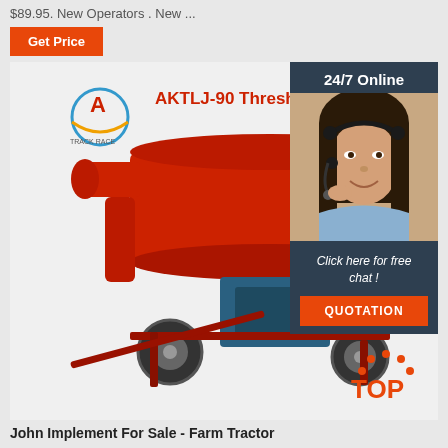$89.95. New Operators . New ...
Get Price
[Figure (photo): AKTLJ-90 Thresher Machine product photo with a red agricultural thresher machine on wheels, with a company logo (A brand), 24/7 Online chat overlay in the top-right corner showing a customer service representative wearing a headset, text 'Click here for free chat!' and a QUOTATION button, and a TOP badge in the bottom-right corner.]
John Implement For Sale - Farm Tractor